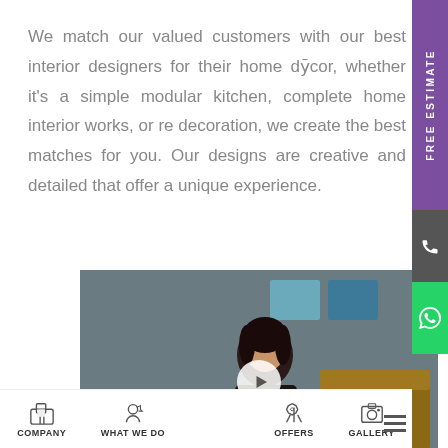We match our valued customers with our best interior designers for their home décor, whether it's a simple modular kitchen, complete home interior works, or re decoration, we create the best matches for you. Our designs are creative and detailed that offer a unique experience.
[Figure (photo): Video thumbnail showing a woman seated in a living room interior, with a play button overlay and #myInteriorChoice D'LIFE branding overlay at the bottom]
COMPANY   WHAT WE DO   OFFERS   GALLERY